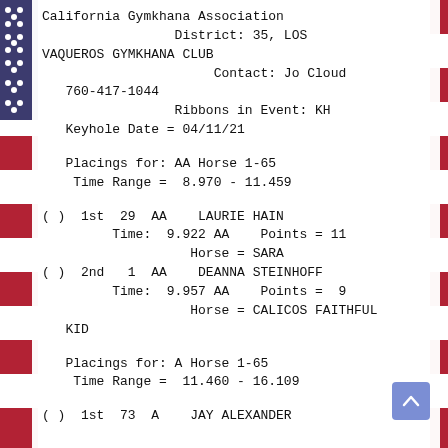California Gymkhana Association
District: 35, LOS VAQUEROS GYMKHANA CLUB
Contact: Jo Cloud
760-417-1044
Ribbons in Event: KH
Keyhole Date = 04/11/21
Placings for: AA Horse 1-65
 Time Range =  8.970 - 11.459
( )  1st  29  AA    LAURIE HAIN
          Time:  9.922 AA    Points = 11
                    Horse = SARA
( )  2nd   1  AA    DEANNA STEINHOFF
          Time:  9.957 AA    Points =  9
                    Horse = CALICOS FAITHFUL
   KID
Placings for: A Horse 1-65
 Time Range =  11.460 - 16.109
( )  1st  73  A    JAY ALEXANDER